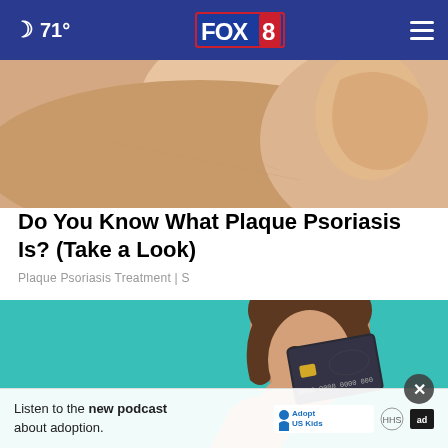71° FOX 8
[Figure (photo): Close-up of human skin showing psoriasis or skin texture near an ear area]
Do You Know What Plaque Psoriasis Is? (Take a Look)
Plaque Psoriasis Treatment | S
[Figure (photo): Young woman holding a dark credit card in front of her face against a teal background]
Listen to the new podcast about adoption.